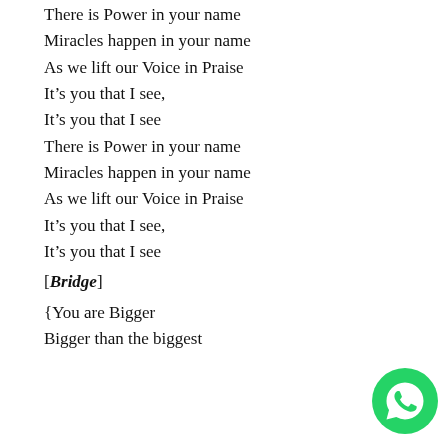There is Power in your name
Miracles happen in your name
As we lift our Voice in Praise
It’s you that I see,
It’s you that I see
There is Power in your name
Miracles happen in your name
As we lift our Voice in Praise
It’s you that I see,
It’s you that I see
[Bridge]
{You are Bigger
Bigger than the biggest
[Figure (logo): WhatsApp green circle logo icon in bottom-right corner]